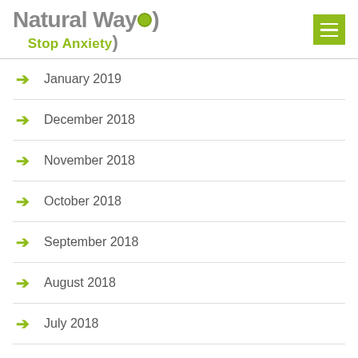Natural Way Stop Anxiety
January 2019
December 2018
November 2018
October 2018
September 2018
August 2018
July 2018
June 2018